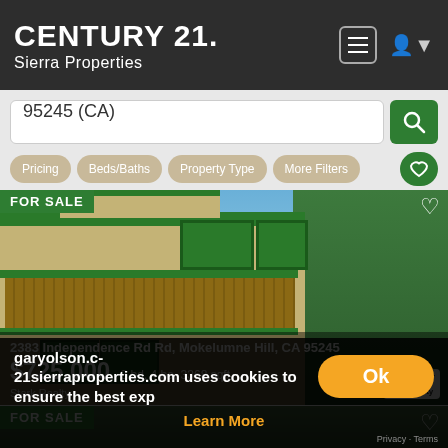CENTURY 21. Sierra Properties
95245 (CA)
Pricing
Beds/Baths
Property Type
More Filters
[Figure (photo): Exterior photo of a two-story house with green trim, wooden deck railings, and trees in background. FOR SALE badge in top-left corner.]
2383 Independence Rd Rd, Mokelumne Hill, CA 95245
$725,000 3 bd, 4 ba, 3368 sqft
Stark Realty
[Figure (photo): Partial view of a FOR SALE property listing with wooded/mountainous terrain.]
garyolson.c-
21sierraproperties.com uses cookies to ensure the best exp
Learn More